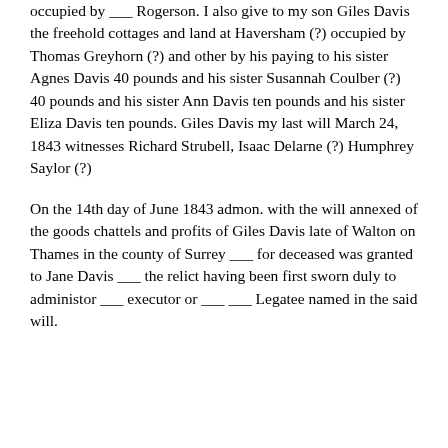occupied by ___ Rogerson.  I also give to my son Giles Davis the freehold cottages and land at Haversham (?)  occupied by Thomas Greyhorn (?)  and other by his paying to his sister Agnes Davis 40 pounds and his sister Susannah Coulber (?) 40 pounds and his sister Ann Davis ten pounds and his sister Eliza Davis ten pounds.  Giles Davis my last will March 24, 1843 witnesses Richard Strubell, Isaac Delarne (?) Humphrey Saylor (?)
On the 14th day of June 1843 admon. with the will annexed of the goods chattels and profits of Giles Davis late of Walton on Thames in the county of Surrey ___ for deceased was granted to Jane Davis ___ the relict having been first sworn duly to administor ___ executor or  ___ ___  Legatee named in the said will.